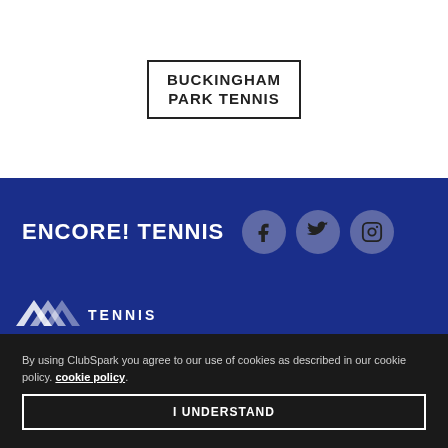[Figure (logo): Buckingham Park Tennis logo in a rectangular border, text reads BUCKINGHAM PARK TENNIS]
ENCORE! TENNIS
[Figure (logo): LTA Tennis logo with chevron shapes and TENNIS text in white on blue background]
By using ClubSpark you agree to our use of cookies as described in our cookie policy. cookie policy.
I UNDERSTAND